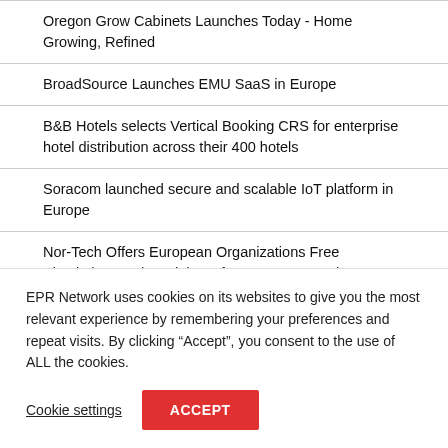Oregon Grow Cabinets Launches Today - Home Growing, Refined
BroadSource Launches EMU SaaS in Europe
B&B Hotels selects Vertical Booking CRS for enterprise hotel distribution across their 400 hotels
Soracom launched secure and scalable IoT platform in Europe
Nor-Tech Offers European Organizations Free Simulation Testing High Performance Computing...
EPR Network uses cookies on its websites to give you the most relevant experience by remembering your preferences and repeat visits. By clicking “Accept”, you consent to the use of ALL the cookies.
Cookie settings  ACCEPT